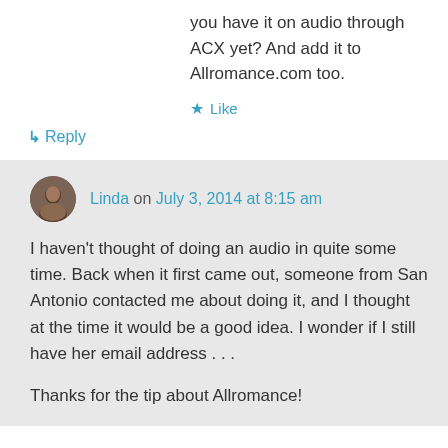you have it on audio through ACX yet? And add it to Allromance.com too.
★ Like
↳ Reply
Linda on July 3, 2014 at 8:15 am
I haven't thought of doing an audio in quite some time. Back when it first came out, someone from San Antonio contacted me about doing it, and I thought at the time it would be a good idea. I wonder if I still have her email address . . .
Thanks for the tip about Allromance!